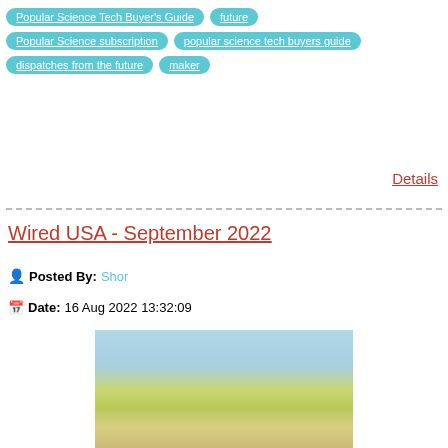Popular Science Tech Buyer's Guide
future
Popular Science subscription
popular science tech buyers guide
dispatches from the future
maker
Details
Wired USA - September 2022
Posted By: Shor
Date: 16 Aug 2022 13:32:09
[Figure (photo): Blurred magazine cover image showing a green outdoor scene with blue sky, likely the Wired USA September 2022 cover]